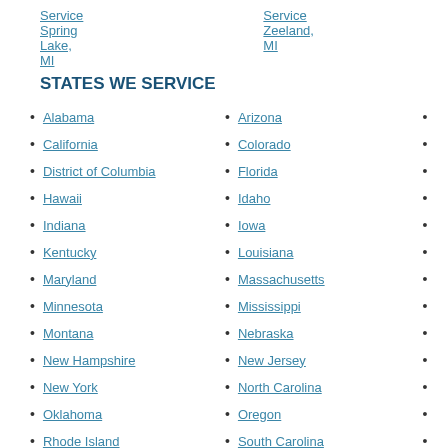Service Spring Lake, MI   Service Zeeland, MI
STATES WE SERVICE
Alabama
Arizona
California
Colorado
District of Columbia
Florida
Hawaii
Idaho
Indiana
Iowa
Kentucky
Louisiana
Maryland
Massachusetts
Minnesota
Mississippi
Montana
Nebraska
New Hampshire
New Jersey
New York
North Carolina
Oklahoma
Oregon
Rhode Island
South Carolina
Tennessee
Texas